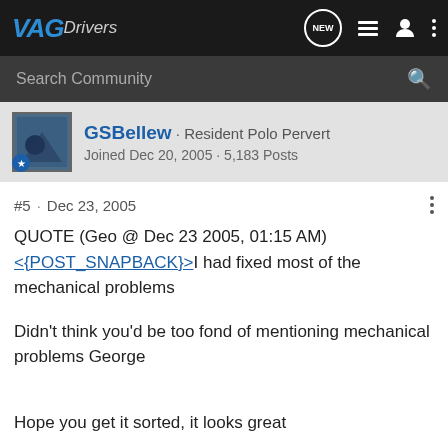VAGDrivers
Search Community
GSBellew · Resident Polo Pervert
Joined Dec 20, 2005 · 5,183 Posts
#5 · Dec 23, 2005
QUOTE (Geo @ Dec 23 2005, 01:15 AM)
<{POST_SNAPBACK}>I had fixed most of the mechanical problems
Didn't think you'd be too fond of mentioning mechanical problems George
Hope you get it sorted, it looks great